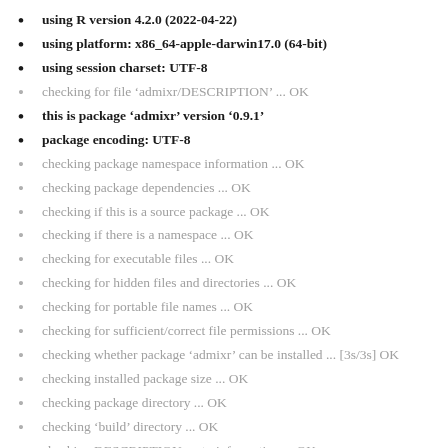using R version 4.2.0 (2022-04-22)
using platform: x86_64-apple-darwin17.0 (64-bit)
using session charset: UTF-8
checking for file ‘admixr/DESCRIPTION’ ... OK
this is package ‘admixr’ version ‘0.9.1’
package encoding: UTF-8
checking package namespace information ... OK
checking package dependencies ... OK
checking if this is a source package ... OK
checking if there is a namespace ... OK
checking for executable files ... OK
checking for hidden files and directories ... OK
checking for portable file names ... OK
checking for sufficient/correct file permissions ... OK
checking whether package ‘admixr’ can be installed ... [3s/3s] OK
checking installed package size ... OK
checking package directory ... OK
checking ‘build’ directory ... OK
checking DESCRIPTION meta-information ... OK
checking top-level files ... OK
checking for left-over files ... OK
checking index information ... OK
checking package subdirectories ... OK